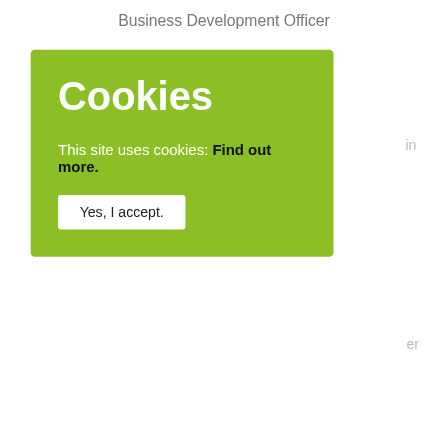Business Development Officer
in
er
Moderated by Pauline Lucas, Policy Officer at Euroheat & Power
CLICK HERE TO REGISTER
[Figure (screenshot): Cookie consent overlay banner with green background. Title: 'Cookies'. Body text: 'This site uses cookies: Find out more.' Button: 'Yes, I accept.']
DATE